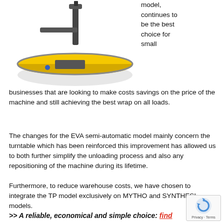[Figure (photo): A yellow circular turntable/pallet wrapper machine with gray frame and base, viewed from an angle above.]
model, continues to be the best choice for small businesses that are looking to make costs savings on the price of the machine and still achieving the best wrap on all loads.
The changes for the EVA semi-automatic model mainly concern the turntable which has been reinforced this improvement has allowed us to both further simplify the unloading process and also any repositioning of the machine during its lifetime.
Furthermore, to reduce warehouse costs, we have chosen to integrate the TP model exclusively on MYTHO and SYNTHESI models.
>> A reliable, economical and simple choice: find